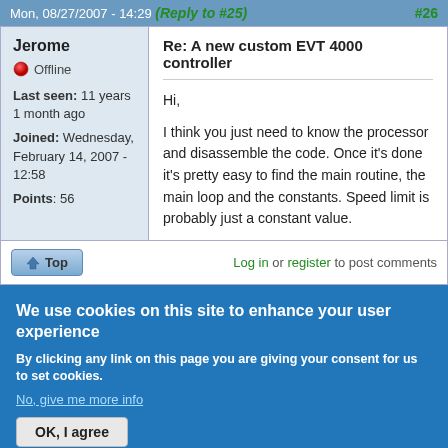Mon, 08/27/2007 - 14:29 (Reply to #25) #26
Jerome
Offline
Last seen: 11 years 1 month ago
Joined: Wednesday, February 14, 2007 - 12:58
Points: 56
Re: A new custom EVT 4000 controller
Hi,

I think you just need to know the processor and disassemble the code. Once it's done it's pretty easy to find the main routine, the main loop and the constants. Speed limit is probably just a constant value.
Top  Log in or register to post comments
We use cookies on this site to enhance your user experience
By clicking any link on this page you are giving your consent for us to set cookies.
No, give me more info
OK, I agree